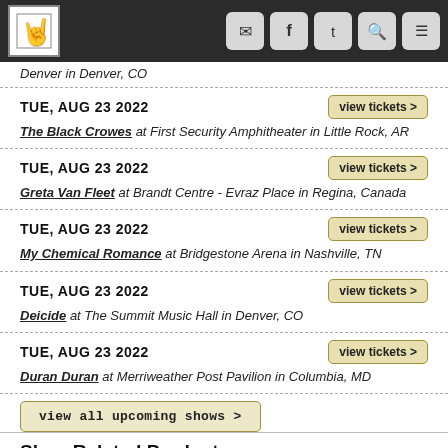Header bar with logo and social icons
Denver in Denver, CO
TUE, AUG 23 2022 — The Black Crowes at First Security Amphitheater in Little Rock, AR — view tickets >
TUE, AUG 23 2022 — Greta Van Fleet at Brandt Centre - Evraz Place in Regina, Canada — view tickets >
TUE, AUG 23 2022 — My Chemical Romance at Bridgestone Arena in Nashville, TN — view tickets >
TUE, AUG 23 2022 — Deicide at The Summit Music Hall in Denver, CO — view tickets >
TUE, AUG 23 2022 — Duran Duran at Merriweather Post Pavilion in Columbia, MD — view tickets >
view all upcoming shows >
Shop Related Products